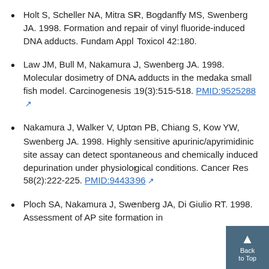Holt S, Scheller NA, Mitra SR, Bogdanffy MS, Swenberg JA. 1998. Formation and repair of vinyl fluoride-induced DNA adducts. Fundam Appl Toxicol 42:180.
Law JM, Bull M, Nakamura J, Swenberg JA. 1998. Molecular dosimetry of DNA adducts in the medaka small fish model. Carcinogenesis 19(3):515-518. PMID:9525288
Nakamura J, Walker V, Upton PB, Chiang S, Kow YW, Swenberg JA. 1998. Highly sensitive apurinic/apyrimidinic site assay can detect spontaneous and chemically induced depurination under physiological conditions. Cancer Res 58(2):222-225. PMID:9443396
Ploch SA, Nakamura J, Swenberg JA, Di Giulio RT. 1998. Assessment of AP site formation in